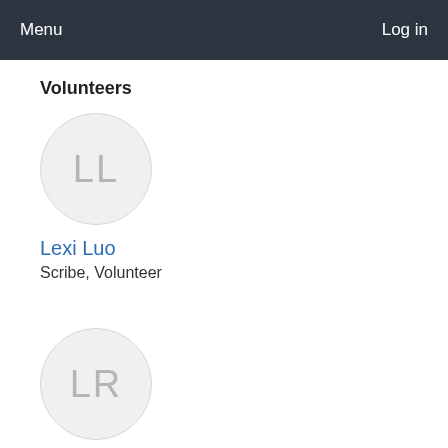Menu  Log in
Volunteers
[Figure (illustration): Circular avatar placeholder with initials LL in light gray on white/light gray background]
Lexi Luo
Scribe, Volunteer
[Figure (illustration): Circular avatar placeholder with initials LR in light gray on white/light gray background]
Lindsay Riordan